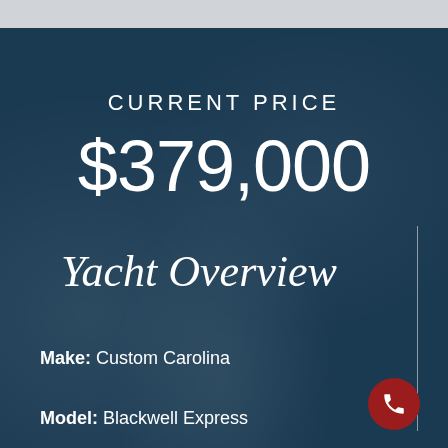CURRENT PRICE
$379,000
Yacht Overview
Make: Custom Carolina
Model: Blackwell Express